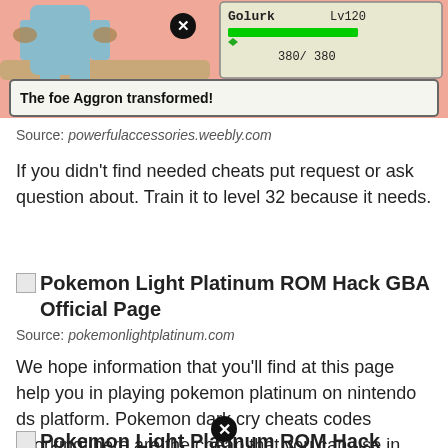[Figure (screenshot): Pokemon game screenshot showing a Golurk at Lv120 with HP 380/380, and a dialog box saying 'The foe Aggron transformed!' with a pink battle background]
Source: powerfulaccessories.weebly.com
If you didn't find needed cheats put request or ask question about. Train it to level 32 because it needs.
Pokemon Light Platinum ROM Hack GBA Official Page
Source: pokemonlightplatinum.com
We hope information that you'll find at this page help you in playing pokemon platinum on nintendo ds platform. Pokemon dark cry cheats codes [working] here are the cheap that you can use in this game.
Pokemon Light Platinum ROM Hack